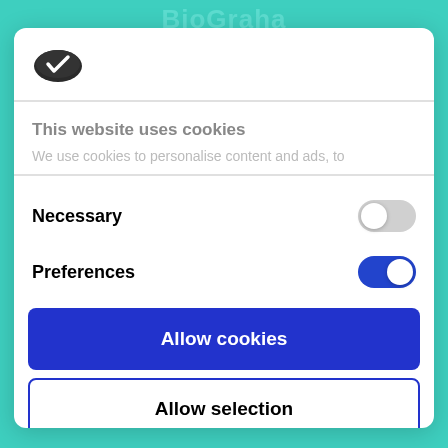[Figure (logo): Cookiebot logo: dark oval cookie shape with white checkmark]
This website uses cookies
We use cookies to personalise content and ads, to
Necessary
Preferences
Allow cookies
Allow selection
Powered by Cookiebot by Usercentrics